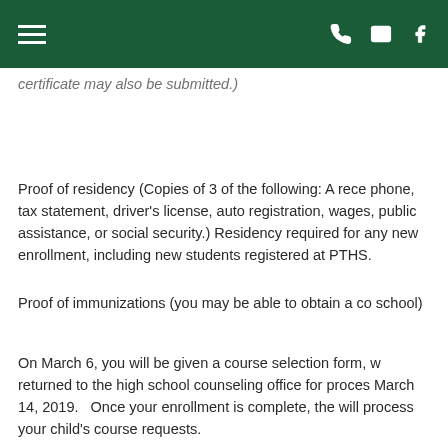[navigation bar with hamburger menu, phone, email, and facebook icons]
certificate may also be submitted.)
Proof of residency (Copies of 3 of the following: A recent phone, tax statement, driver's license, auto registration, wages, public assistance, or social security.) Residency required for any new enrollment, including new students registered at PTHS.
Proof of immunizations (you may be able to obtain a copy from previous school)
On March 6, you will be given a course selection form, which must be returned to the high school counseling office for processing by March 14, 2019.   Once your enrollment is complete, the will process your child's course requests.
If, however, you are unable to attend this meeting, please call the Main Office at 724-941-6250 ext. 5213 to schedule an appointment at the school during business hours (7:00 a.m. – 3:00 p.m.) to